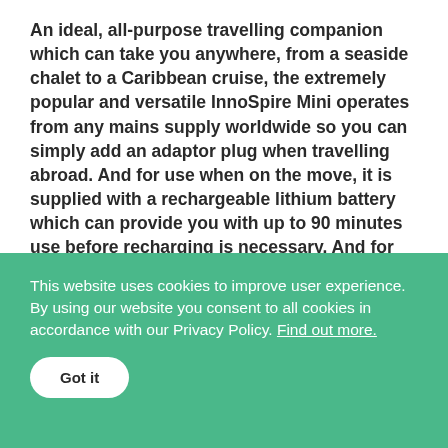An ideal, all-purpose travelling companion which can take you anywhere, from a seaside chalet to a Caribbean cruise, the extremely popular and versatile InnoSpire Mini operates from any mains supply worldwide so you can simply add an adaptor plug when travelling abroad. And for use when on the move, it is supplied with a rechargeable lithium battery which can provide you with up to 90 minutes use before recharging is necessary. And for total portability there is a 12v DC lead for you to use from the car or motor home.
This website uses cookies to improve user experience. By using our website you consent to all cookies in accordance with our Privacy Policy. Find out more.